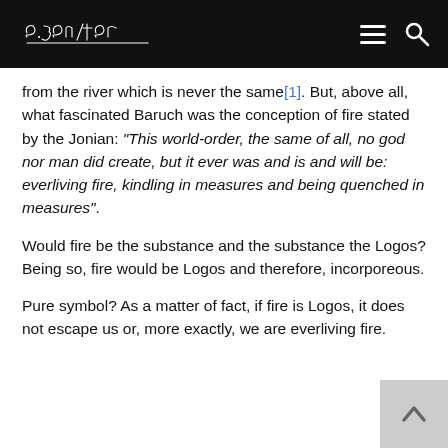e.bewiter [logo/signature]
from the river which is never the same[1]. But, above all, what fascinated Baruch was the conception of fire stated by the Jonian: “This world-order, the same of all, no god nor man did create, but it ever was and is and will be: everliving fire, kindling in measures and being quenched in measures”.
Would fire be the substance and the substance the Logos? Being so, fire would be Logos and therefore, incorporeous.
Pure symbol? As a matter of fact, if fire is Logos, it does not escape us or, more exactly, we are everliving fire.